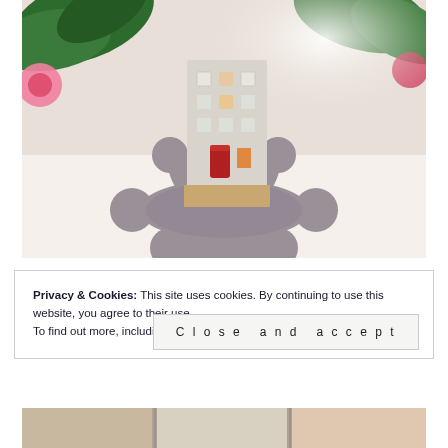[Figure (photo): A ceramic house-shaped lantern/candle holder sitting on a grey felt snowflake mat, with Christmas tree branches and lights visible in the background]
Privacy & Cookies: This site uses cookies. By continuing to use this website, you agree to their use.
To find out more, including how to control cookies, see here: Cookie Policy
Close and accept
[Figure (photo): Partial view of images at bottom of page]